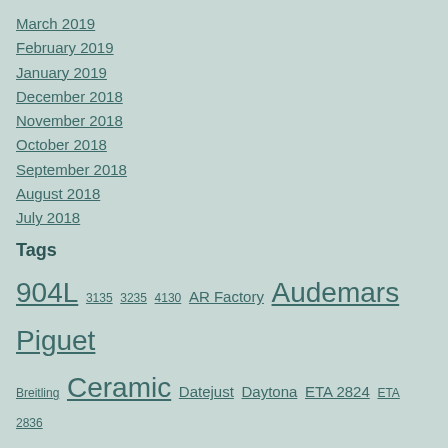March 2019
February 2019
January 2019
December 2018
November 2018
October 2018
September 2018
August 2018
July 2018
Tags
904L 3135 3235 4130 AR Factory Audemars Piguet Breitling Ceramic Datejust Daytona ETA 2824 ETA 2836